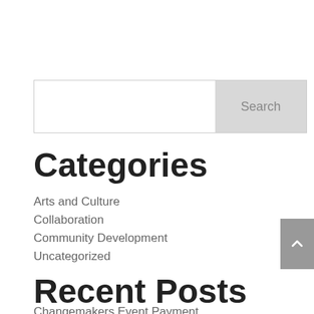[Figure (other): Search bar with text input and Search button]
Categories
Arts and Culture
Collaboration
Community Development
Uncategorized
Recent Posts
Changemakers Event Payment